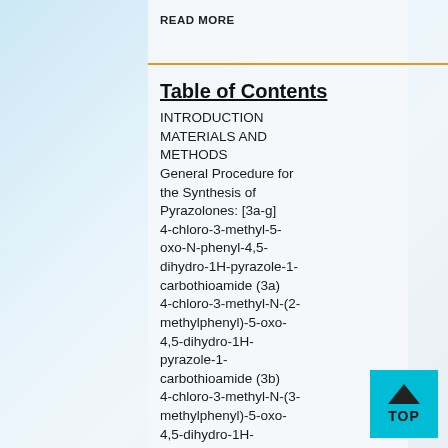READ MORE
Table of Contents
INTRODUCTION
MATERIALS AND METHODS
General Procedure for the Synthesis of Pyrazolones: [3a-g]
4-chloro-3-methyl-5-oxo-N-phenyl-4,5-dihydro-1H-pyrazole-1-carbothioamide (3a)
4-chloro-3-methyl-N-(2-methylphenyl)-5-oxo-4,5-dihydro-1H-pyrazole-1-carbothioamide (3b)
4-chloro-3-methyl-N-(3-methylphenyl)-5-oxo-4,5-dihydro-1H-pyrazole-1-carbothioamide (3c)
4-chloro-3-methyl-N-(4-methylphenyl)-5-oxo-